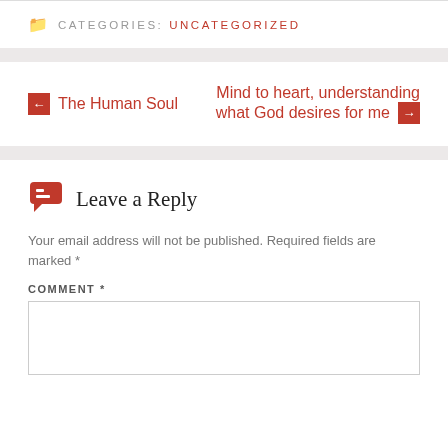CATEGORIES: UNCATEGORIZED
← The Human Soul
Mind to heart, understanding what God desires for me →
Leave a Reply
Your email address will not be published. Required fields are marked *
COMMENT *